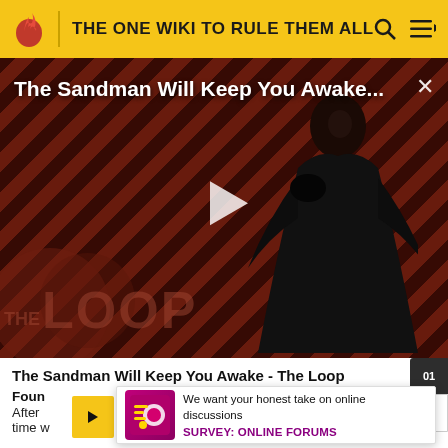THE ONE WIKI TO RULE THEM ALL
[Figure (screenshot): Video thumbnail for 'The Sandman Will Keep You Awake...' showing a dark figure in black cape against a red diagonal stripe background with 'THE LOOP' watermark and a play button overlay]
The Sandman Will Keep You Awake - The Loop
Foun
After  e
time w
[Figure (infographic): Survey prompt overlay showing a colorful icon and text: 'We want your honest take on online discussions' with link 'SURVEY: ONLINE FORUMS']
We want your honest take on online discussions
SURVEY: ONLINE FORUMS